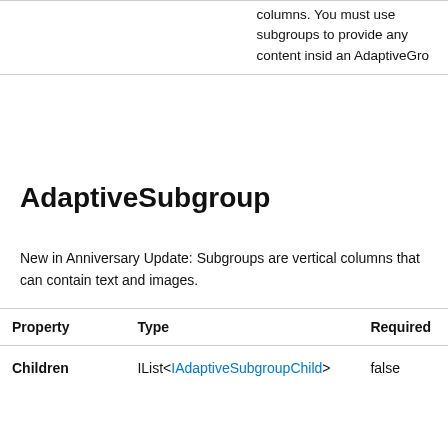|  |  |
| --- | --- |
|  | columns. You must use subgroups to provide any content inside an AdaptiveGro… |
AdaptiveSubgroup
New in Anniversary Update: Subgroups are vertical columns that can contain text and images.
| Property | Type | Required |
| --- | --- | --- |
| Children | IList<IAdaptiveSubgroupChild> | false |